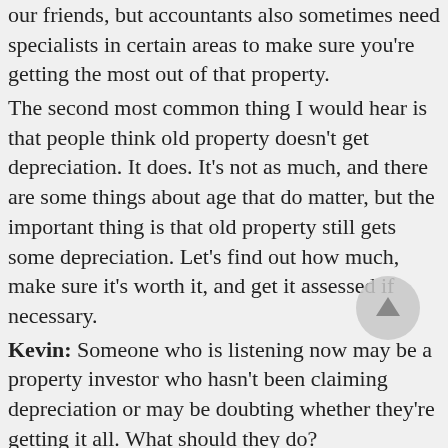our friends, but accountants also sometimes need specialists in certain areas to make sure you're getting the most out of that property.
The second most common thing I would hear is that people think old property doesn't get depreciation. It does. It's not as much, and there are some things about age that do matter, but the important thing is that old property still gets some depreciation. Let's find out how much, make sure it's worth it, and get it assessed if necessary.
Kevin:  Someone who is listening now may be a property investor who hasn't been claiming depreciation or may be doubting whether they're getting it all. What should they do?
Brad:  It's really easy. We've got calculators on the website or we could talk to you about your property. With the address, we can see some photos usually these days and get an indication of what sort of deductions could be claimed.
Have a check against your tax return and see what you are claiming, and if you haven't been getting it all you can easily go back and amend up to two years of tax returns and can potentially get some